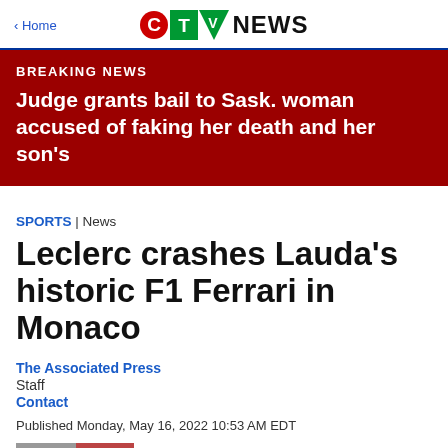< Home | CTV NEWS
BREAKING NEWS
Judge grants bail to Sask. woman accused of faking her death and her son's
SPORTS | News
Leclerc crashes Lauda's historic F1 Ferrari in Monaco
The Associated Press
Staff
Contact
Published Monday, May 16, 2022 10:53 AM EDT
[Figure (photo): Partial photo visible at bottom of page, appears to show a racing or news-related image]